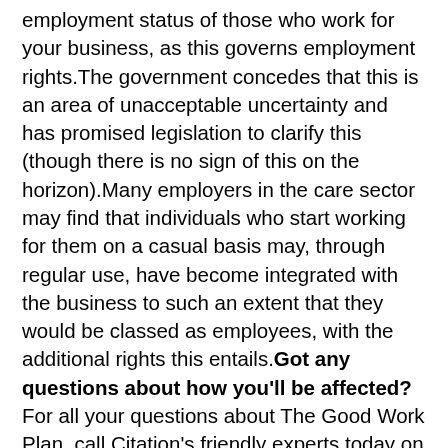employment status of those who work for your business, as this governs employment rights.The government concedes that this is an area of unacceptable uncertainty and has promised legislation to clarify this (though there is no sign of this on the horizon).Many employers in the care sector may find that individuals who start working for them on a casual basis may, through regular use, have become integrated with the business to such an extent that they would be classed as employees, with the additional rights this entails.Got any questions about how you'll be affected?For all your questions about The Good Work Plan, call Citation's friendly experts today on 0345 844 1111 and they'll be happy to help, or get in touch here – just mention you're a member of KiCA when enquiring.Plus, for more content that breaks down the different elements of The Good Work Plan, you can also